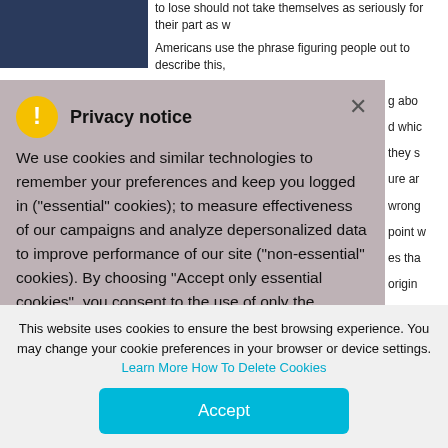to lose should not take themselves as seriously for their part as w
Americans use the phrase figuring people out to describe this,
[Figure (screenshot): Privacy notice modal overlay with warning icon, close button, and cookie consent text. Contains title 'Privacy notice', body text about cookies and technologies, essential and non-essential cookies explanation.]
This website uses cookies to ensure the best browsing experience. You may change your cookie preferences in your browser or device settings. Learn More How To Delete Cookies
Accept